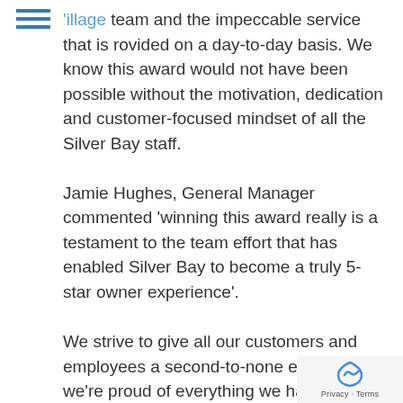'illage team and the impeccable service that is rovided on a day-to-day basis. We know this award would not have been possible without the motivation, dedication and customer-focused mindset of all the Silver Bay staff.

Jamie Hughes, General Manager commented 'winning this award really is a testament to the team effort that has enabled Silver Bay to become a truly 5-star owner experience'.

We strive to give all our customers and employees a second-to-none experience; we're proud of everything we have and will continue to achieve. Here's to many more incredible experiences, awards won and memories.